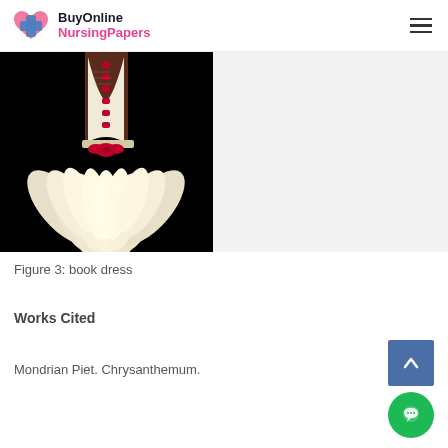BuyOnline NursingPapers
[Figure (photo): A dress made from book pages, corset-style bodice with red ribbon lacing and bow, skirt made of folded book pages resembling feathers or petals, on black background]
Figure 3: book dress
Works Cited
Mondrian Piet. Chrysanthemum.